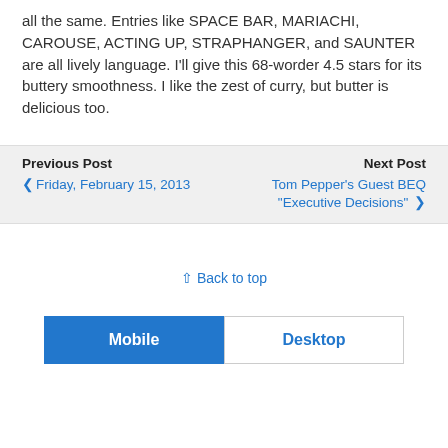all the same. Entries like SPACE BAR, MARIACHI, CAROUSE, ACTING UP, STRAPHANGER, and SAUNTER are all lively language. I'll give this 68-worder 4.5 stars for its buttery smoothness. I like the zest of curry, but butter is delicious too.
Previous Post
‹ Friday, February 15, 2013
Next Post
Tom Pepper's Guest BEQ "Executive Decisions" ›
⇧ Back to top
Mobile | Desktop